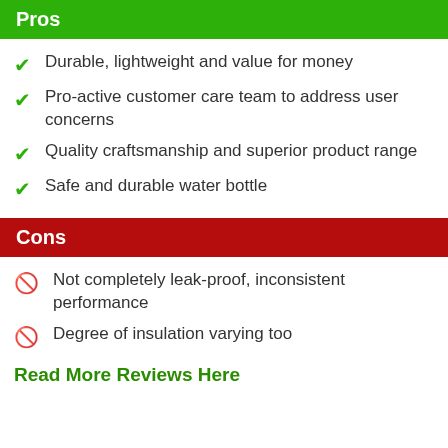Pros
Durable, lightweight and value for money
Pro-active customer care team to address user concerns
Quality craftsmanship and superior product range
Safe and durable water bottle
Cons
Not completely leak-proof, inconsistent performance
Degree of insulation varying too
Read More Reviews Here